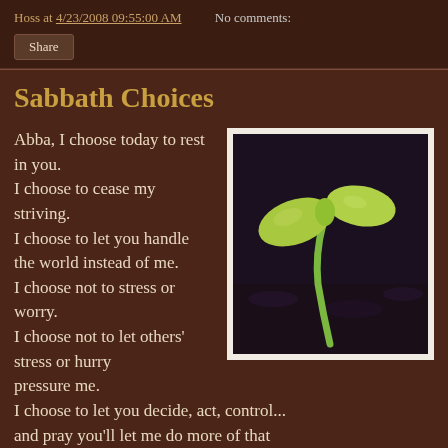Hoss at 4/23/2008 09:55:00 AM   No comments:
Share
Sabbath Choices
[Figure (photo): Close-up photo of a green seedling sprouting from dark soil, with two large cotyledon leaves visible against a dark background.]
Abba, I choose today to rest in you.
I choose to cease my striving.
I choose to let you handle the world instead of me.
I choose not to stress or worry.
I choose not to let others' stress or hurry pressure me.
I choose to let you decide, act, control...
and pray you'll let me do more of that the other six days of the week,
letting my Sabbath infect my week